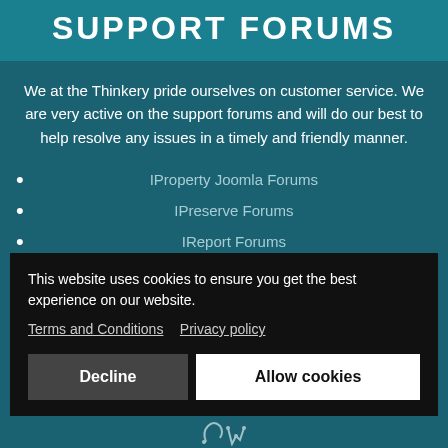SUPPORT FORUMS
We at the Thinkery pride ourselves on customer service. We are very active on the support forums and will do our best to help resolve any issues in a timely and friendly manner.
IProperty Joomla Forums
IPreserve Forums
IReport Forums
Work Force Forums
This website uses cookies to ensure you get the best experience on our website. Terms and Conditions  Privacy policy